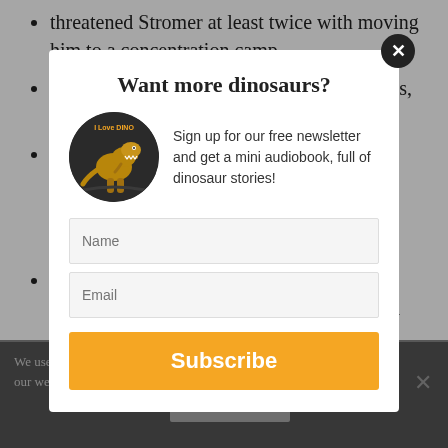threatened Stromer at least twice with moving him to a concentration camp
Beurlen reported Stromer to Nazi authorities, but they didn't take direct action
S... 21, W...
L... p... d...
D...
W... c...
We use... once on our web... hat you at destroyed his b...
April 25, 1945, ... d within months of being assigned to a battalion fighting Allied
Want more dinosaurs?
Sign up for our free newsletter and get a mini audiobook, full of dinosaur stories!
[Figure (illustration): Circular badge with dinosaur (T-Rex) illustration and 'I Love DINO' text]
Name
Email
Subscribe
Ok